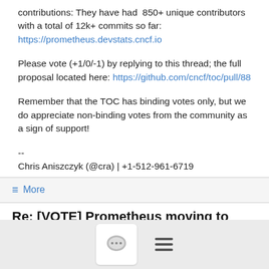contributions: They have had 850+ unique contributors with a total of 12k+ commits so far: https://prometheus.devstats.cncf.io
Please vote (+1/0/-1) by replying to this thread; the full proposal located here: https://github.com/cncf/toc/pull/88
Remember that the TOC has binding votes only, but we do appreciate non-binding votes from the community as a sign of support!
--
Chris Aniszczyk (@cra) | +1-512-961-6719
≡ More
Re: [VOTE] Prometheus moving to graduation
Gou Rao <grao@...>    4/17/18